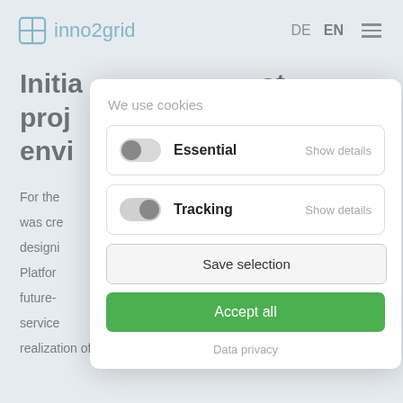inno2grid | DE EN ☰
Initia... ot proj... envi...
For the ... concept was cre... designing... Platform... various future-... ity service... realization of individual mobility needs. The new
[Figure (screenshot): Cookie consent modal dialog with title 'We use cookies', two toggle rows for Essential and Tracking options each with 'Show details' links, a 'Save selection' button, an 'Accept all' green button, and a 'Data privacy' link at the bottom.]